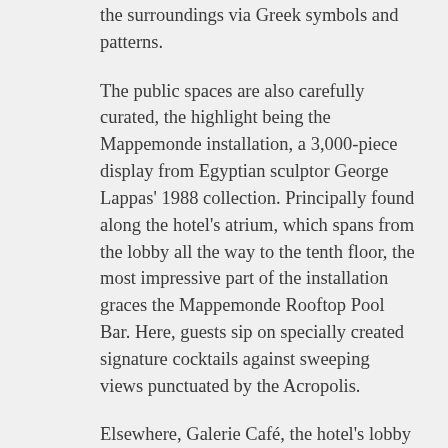the surroundings via Greek symbols and patterns.
The public spaces are also carefully curated, the highlight being the Mappemonde installation, a 3,000-piece display from Egyptian sculptor George Lappas' 1988 collection. Principally found along the hotel's atrium, which spans from the lobby all the way to the tenth floor, the most impressive part of the installation graces the Mappemonde Rooftop Pool Bar. Here, guests sip on specially created signature cocktails against sweeping views punctuated by the Acropolis.
Elsewhere, Galerie Café, the hotel's lobby bar, is being billed as an urban meeting point. It's also an ideal spot for guests to enjoy a preprandial cocktail before heading to MFlavors, the hotel's in-house restaurant, where the chef turns out fresh Mediterranean fare from the open